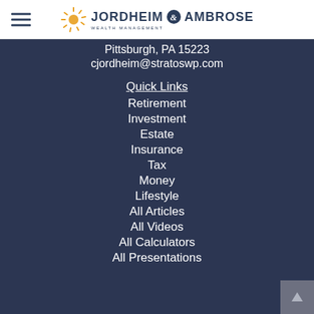[Figure (logo): Jordheim & Ambrose Wealth Management logo with sun icon]
Pittsburgh, PA 15223
cjordheim@stratoswp.com
Quick Links
Retirement
Investment
Estate
Insurance
Tax
Money
Lifestyle
All Articles
All Videos
All Calculators
All Presentations